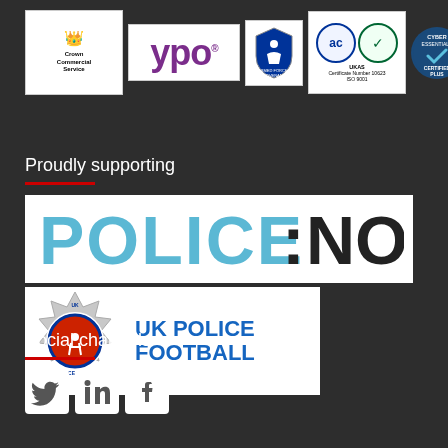[Figure (logo): Crown Commercial Service logo - government crest with text Crown Commercial Service]
[Figure (logo): YPO logo in purple]
[Figure (logo): Armed Forces Covenant logo]
[Figure (logo): UKAS accredited certification ISO 9001 Certificate Number 10623]
[Figure (logo): Cyber Essentials Certified Plus badge]
Proudly supporting
[Figure (logo): POLICE:NOW logo in light blue and black]
[Figure (logo): UK Police Football logo with police sport badge]
Social channels
[Figure (logo): Twitter social media icon]
[Figure (logo): LinkedIn social media icon]
[Figure (logo): Facebook social media icon]